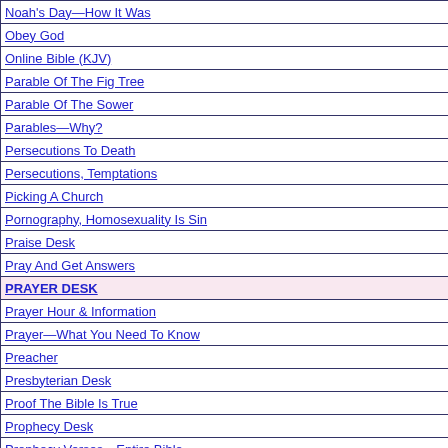| Noah's Day—How It Was |
| Obey God |
| Online Bible (KJV) |
| Parable Of The Fig Tree |
| Parable Of The Sower |
| Parables—Why? |
| Persecutions To Death |
| Persecutions, Temptations |
| Picking A Church |
| Pornography, Homosexuality Is Sin |
| Praise Desk |
| Pray And Get Answers |
| PRAYER DESK |
| Prayer Hour & Information |
| Prayer—What You Need To Know |
| Preacher |
| Presbyterian Desk |
| Proof The Bible Is True |
| Prophecy Desk |
| Prophecy Verses—Entire Bible |
| Rapture |
| Rejection |
| Religion Desk—Information & News |
| Religion Studies |
| Religious Desk |
| Repent |
| REVELATION #1 SUMMARY |
| Revelation #2 Teach in churches |